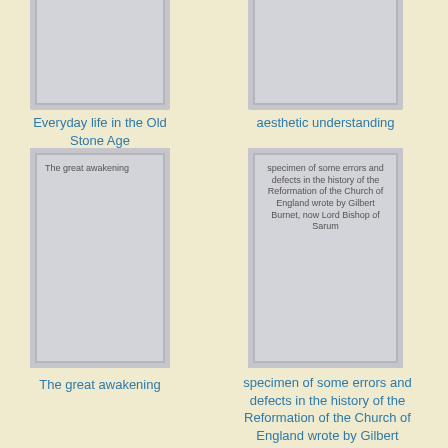[Figure (illustration): Book cover thumbnail for 'Everyday life in the Old Stone Age' - grey placeholder cover, partially cropped at top]
Everyday life in the Old Stone Age
[Figure (illustration): Book cover thumbnail for 'aesthetic understanding' - grey placeholder cover, partially cropped at top]
aesthetic understanding
[Figure (illustration): Book cover for 'The great awakening' with title text on grey cover]
The great awakening
[Figure (illustration): Book cover for 'specimen of some errors and defects in the history of the Reformation of the Church of England wrote by Gilbert Burnet, now Lord Bishop of Sarum' with that text on grey cover]
specimen of some errors and defects in the history of the Reformation of the Church of England wrote by Gilbert Burnet, now Lord Bishop of Sarum